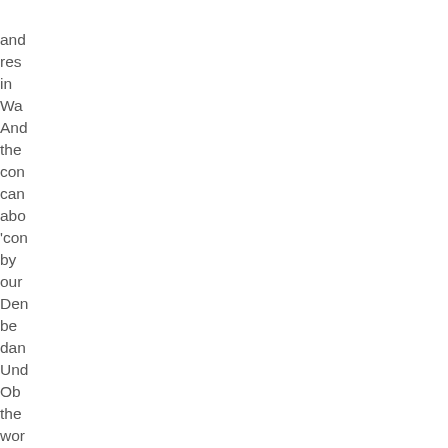and
res
in
Wa
And
the
con
can
abo
'con
by
oun
Den
be
dan
Und
Ob
the
wor
can
to
kno
us